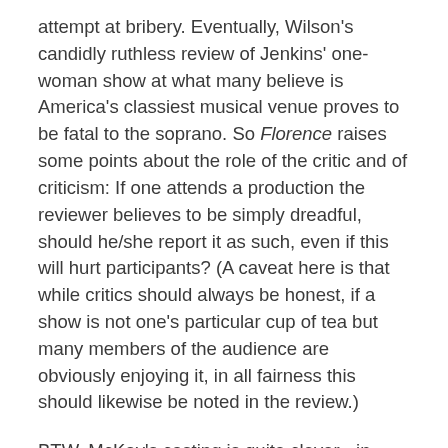attempt at bribery. Eventually, Wilson's candidly ruthless review of Jenkins' one-woman show at what many believe is America's classiest musical venue proves to be fatal to the soprano. So Florence raises some points about the role of the critic and of criticism: If one attends a production the reviewer believes to be simply dreadful, should he/she report it as such, even if this will hurt participants? (A caveat here is that while critics should always be honest, if a show is not one's particular cup of tea but many members of the audience are obviously enjoying it, in all fairness this should likewise be noted in the review.)
BTW, McKay's casting is quite clever - in 2008 he played the latter in the absolutely delightful Me and Orson Welles, and viewers with fast eyes can glimpse a fleeting onscreen reference to that theater and movie maestro in Florence. In addition, Welles' masterpiece, the faux biopic Citizen Kane, is about another (fictionalized) scion of privilege,